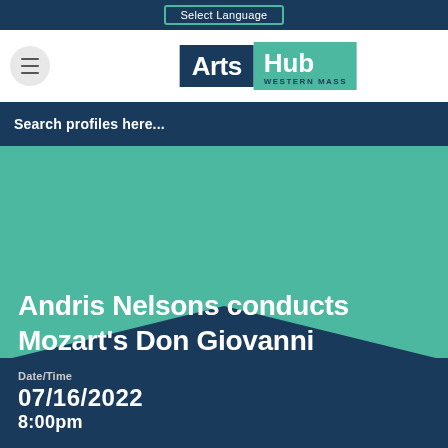Select Language
[Figure (logo): Arts Hub Western Mass logo with hamburger menu button]
Search profiles here...
Andris Nelsons conducts Mozart's Don Giovanni
Date/Time
07/16/2022
8:00pm